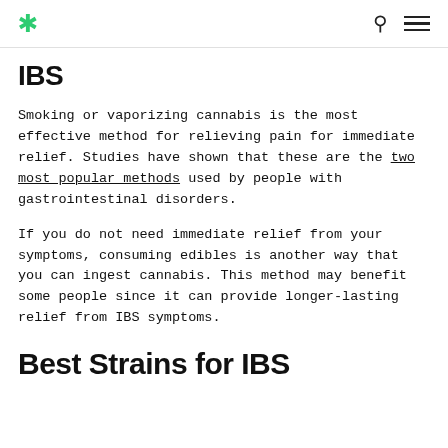Cannabis leaf logo, search icon, menu icon
IBS
Smoking or vaporizing cannabis is the most effective method for relieving pain for immediate relief. Studies have shown that these are the two most popular methods used by people with gastrointestinal disorders.
If you do not need immediate relief from your symptoms, consuming edibles is another way that you can ingest cannabis. This method may benefit some people since it can provide longer-lasting relief from IBS symptoms.
Best Strains for IBS